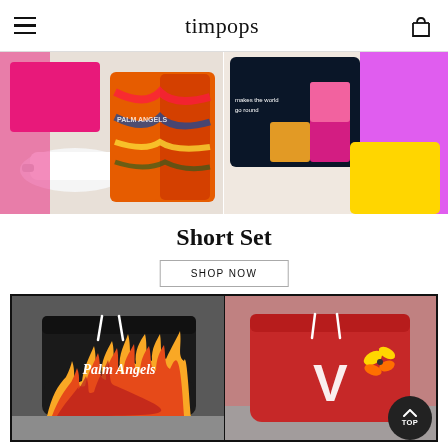timpops
[Figure (photo): Two side-by-side product photos showing colorful short sets — left: Palm Angels rainbow tie-dye shorts with pink top and white sneaker; right: dark blue graphic tee with leopard print letter L and yellow shorts]
Short Set
SHOP NOW
[Figure (photo): Two product shorts photos: left shows black Palm Angels flame shorts with fire graphics and gothic text; right shows red Vlone/V shorts with butterfly accent. A dark 'TOP' scroll button is visible in lower right corner.]